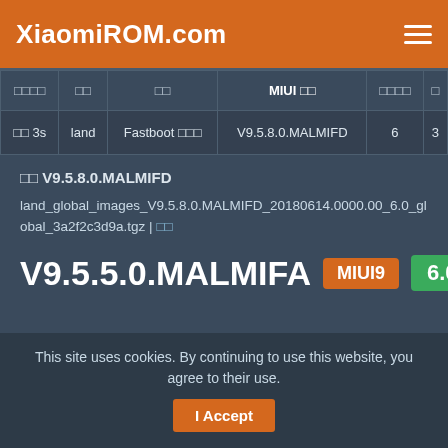XiaomiROM.com
| 型号型号 | 型号 | 型号 | MIUI 型号 | 型号型号 | 型 |
| --- | --- | --- | --- | --- | --- |
| 型型 3s | land | Fastboot 型型型 | V9.5.8.0.MALMIFD | 6 | 3 |
型型 V9.5.8.0.MALMIFD
land_global_images_V9.5.8.0.MALMIFD_20180614.0000.00_6.0_global_3a2f2c3d9a.tgz | 型型
V9.5.5.0.MALMIFA  MIUI9  6.0
This site uses cookies. By continuing to use this website, you agree to their use.  I Accept